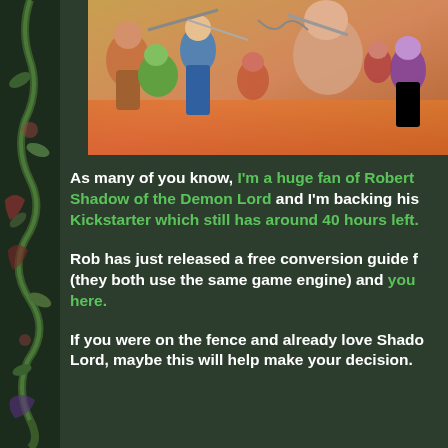[Figure (illustration): Fantasy battle scene illustration showing various characters including warriors, monsters, and figures in combat. Colorful chaotic scene with multiple fantasy creatures and humanoids fighting.]
As many of you know, I'm a huge fan of Robert Shadow of the Demon Lord and I'm backing his Kickstarter which still has around 40 hours left.
Rob has just released a free conversion guide f (they both use the same game engine) and you here.
If you were on the fence and already love Shado Lord, maybe this will help make your decision.